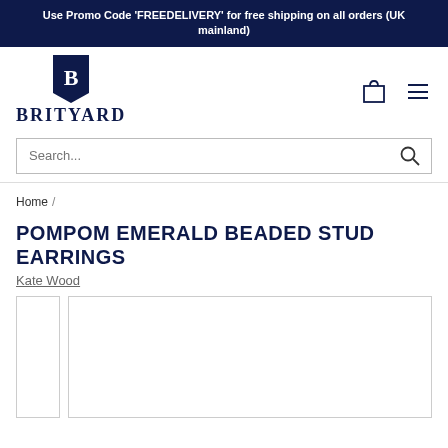Use Promo Code 'FREEDELIVERY' for free shipping on all orders (UK mainland)
[Figure (logo): BritYard logo with a shield/bookmark-shaped emblem containing a B, and the text BRITYARD below]
Search...
Home /
POMPOM EMERALD BEADED STUD EARRINGS
Kate Wood
[Figure (photo): Product image area with a narrow thumbnail strip on the left and a large main image panel on the right, both outlined with borders, content not visible]